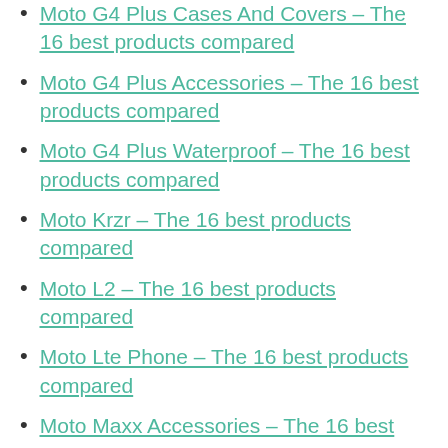Moto G4 Plus Cases And Covers – The 16 best products compared
Moto G4 Plus Accessories – The 16 best products compared
Moto G4 Plus Waterproof – The 16 best products compared
Moto Krzr – The 16 best products compared
Moto L2 – The 16 best products compared
Moto Lte Phone – The 16 best products compared
Moto Maxx Accessories – The 16 best products compared